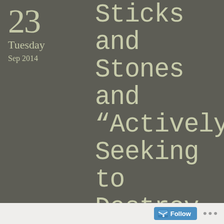23
Tuesday
Sep 2014
Sticks and Stones and “Actively Seeking to Destroy You”
Posted by JoAnne Hancock in We Are Our Stories ≈ 6 Comments
I have struggled for a year with how to tell parts of my story without doing anything that would be displeasing to Christ or cause anyone to stumble.  Increasingly, I have felt that satan would love to keep
Follow ...